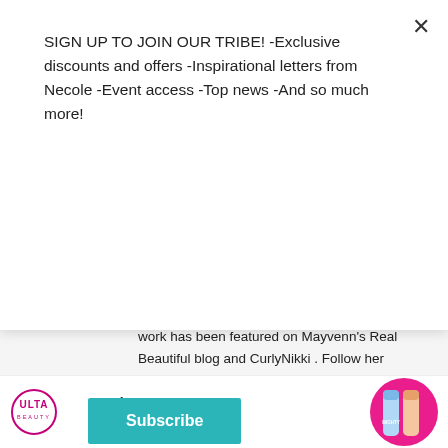SIGN UP TO JOIN OUR TRIBE! -Exclusive discounts and offers -Inspirational letters from Necole -Event access -Top news -And so much more!
Subscribe
work has been featured on Mayvenn's Real Beautiful blog and CurlyNikki . Follow her excursions via Instagram @trulybrenda_
FROM THE WEB
by ZergNet
[Figure (photo): Three celebrity photos side by side]
[Figure (infographic): Ulta Beauty advertisement: Embrace Your Skin's Potential with product images]